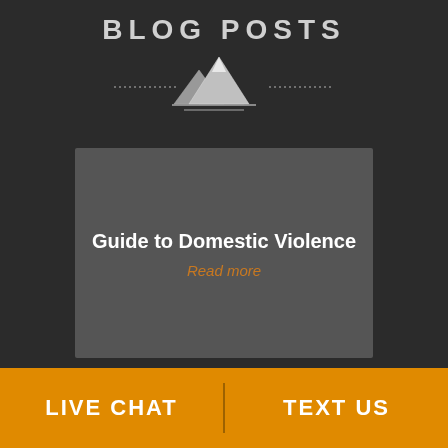BLOG POSTS
[Figure (illustration): Mountain peaks logo/icon with dotted horizontal lines on either side, rendered in grey tones on dark background]
Guide to Domestic Violence
Read more
LIVE CHAT   TEXT US